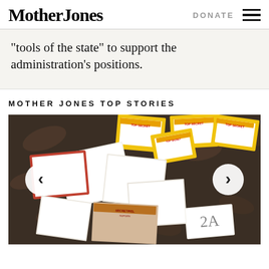Mother Jones | DONATE ☰
“tools of the state” to support the administration’s positions.
MOTHER JONES TOP STORIES
[Figure (photo): Overhead view of classified and top-secret documents scattered on a patterned tablecloth, with yellow-bordered folders labeled TOP SECRET, white envelopes, and a numbered evidence placard reading 2A. Navigation arrows (< and >) overlaid on either side for a carousel.]